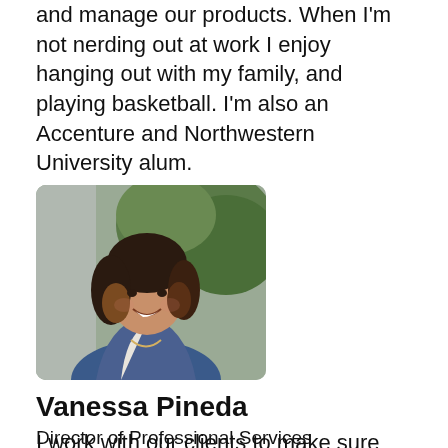and manage our products. When I'm not nerding out at work I enjoy hanging out with my family, and playing basketball. I'm also an Accenture and Northwestern University alum.
[Figure (photo): Headshot of Vanessa Pineda, a woman with dark wavy hair, smiling outdoors with green foliage in the background, wearing a blue blazer.]
Vanessa Pineda
Director of Professional Services
I work with our clients to make sure our